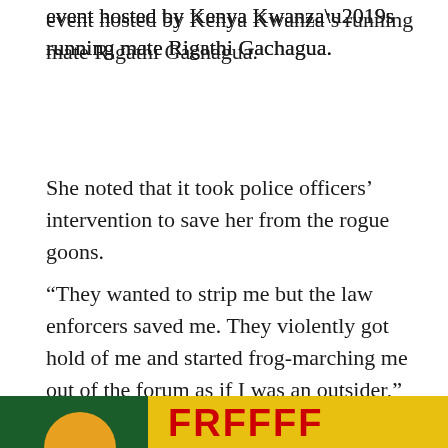event hosted by Kenya Kwanza’s running mate Rigathi Gachagua.
She noted that it took police officers’ intervention to save her from the rogue goons.
“They wanted to strip me but the law enforcers saved me. They violently got hold of me and started frog-marching me out of the forum as if I was an outsider,” she narrated.
[Figure (logo): Partial banner at the bottom of the page with dark green, orange/red, and bright yellow/red background colors and partial bold red text visible.]